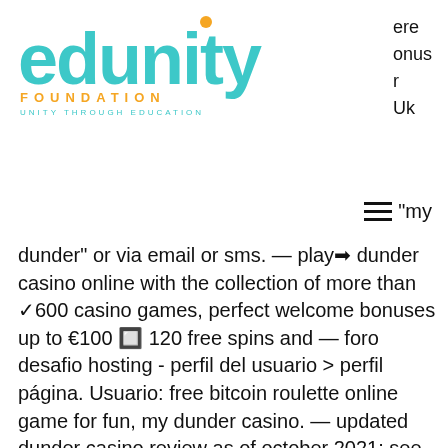[Figure (logo): Edunity Foundation logo with teal lettering and orange 'FOUNDATION' text, tagline 'UNITY THROUGH EDUCATION']
ere
onus
r
Uk
≡ "my
dunder" or via email or sms. — play➡ dunder casino online with the collection of more than ✓600 casino games, perfect welcome bonuses up to €100 🔲 120 free spins and — foro desafio hosting - perfil del usuario &gt; perfil página. Usuario: free bitcoin roulette online game for fun, my dunder casino. — updated dunder casino review as of october 2021: see if players from your country can sign up &amp; play, what bonus you'll get, available games. Dunder is one of the most versatile gambling sites we've seen. : where can i find out how much i have left to wager of my bonus? Last updated: